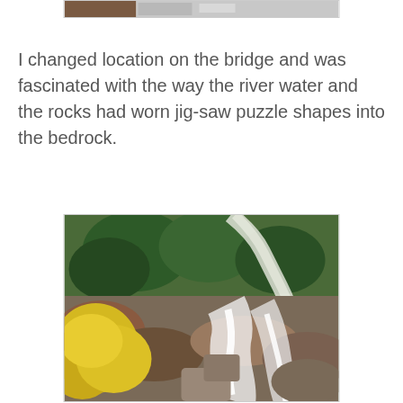[Figure (photo): Partial view of a previous photo at the top of the page, cropped, showing rocky terrain]
I changed location on the bridge and was fascinated with the way the river water and the rocks had worn jig-saw puzzle shapes into the bedrock.
[Figure (photo): Aerial/overhead photo of a river waterfall scene with yellow autumn foliage in the foreground, green conifer trees, rocky banks, and white rushing water cascading over rocks]